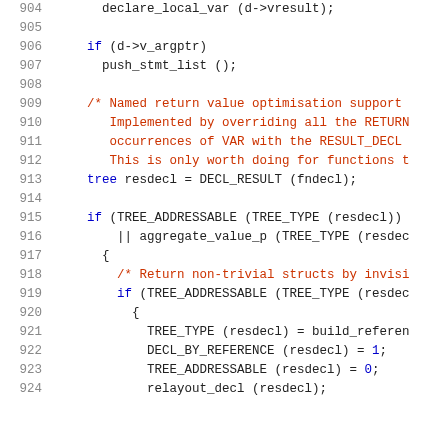Source code listing, lines 904-924, C/C++ code with syntax highlighting showing function body with variable declarations, conditionals, and tree manipulation macros.